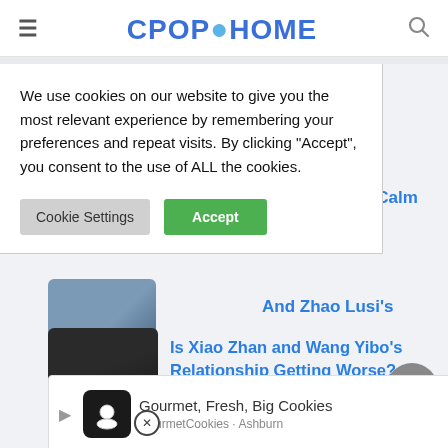CPOPHOME
We use cookies on our website to give you the most relevant experience by remembering your preferences and repeat visits. By clicking “Accept”, you consent to the use of ALL the cookies.
Cookie Settings | Accept
eo Wu Lei’s Fans Can Not Calm
And Zhao Lusi’s
Is Xiao Zhan and Wang Yibo’s Relationship Getting Worse?
Relationship
Gourmet, Fresh, Big Cookies